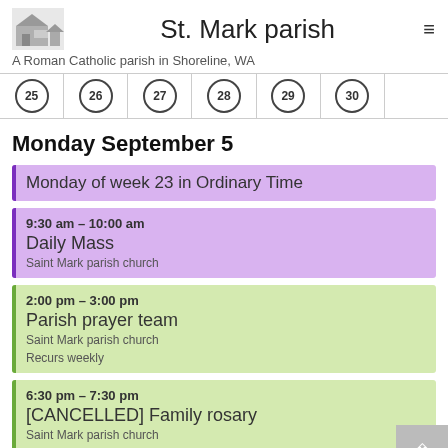St. Mark parish
A Roman Catholic parish in Shoreline, WA
[Figure (other): Calendar week row showing day numbers 25, 26, 27, 28, 29, 30 in circles]
Monday September 5
Monday of week 23 in Ordinary Time
9:30 am – 10:00 am
Daily Mass
Saint Mark parish church
2:00 pm – 3:00 pm
Parish prayer team
Saint Mark parish church
Recurs weekly
6:30 pm – 7:30 pm
[CANCELLED] Family rosary
Saint Mark parish church